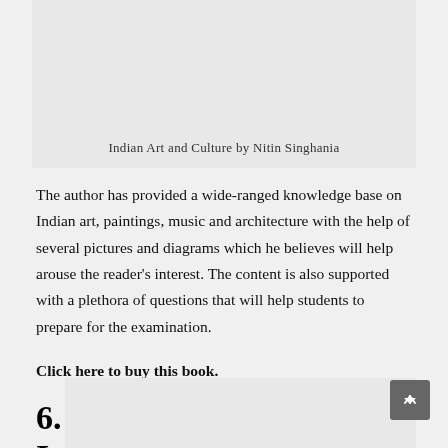[Figure (photo): Book cover or image for Indian Art and Culture by Nitin Singhania]
Indian Art and Culture by Nitin Singhania
The author has provided a wide-ranged knowledge base on Indian art, paintings, music and architecture with the help of several pictures and diagrams which he believes will help arouse the reader's interest. The content is also supported with a plethora of questions that will help students to prepare for the examination.
Click here to buy this book.
6. India After Independence: Bipan Chandra
[Figure (photo): Book cover or image for India After Independence by Bipan Chandra]